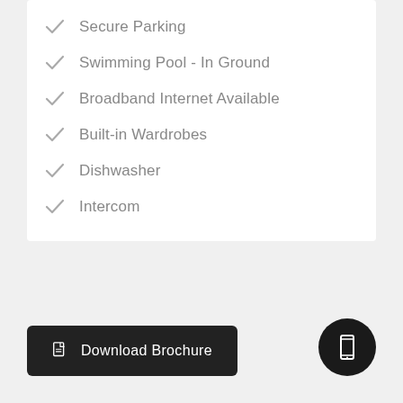Secure Parking
Swimming Pool - In Ground
Broadband Internet Available
Built-in Wardrobes
Dishwasher
Intercom
Download Brochure